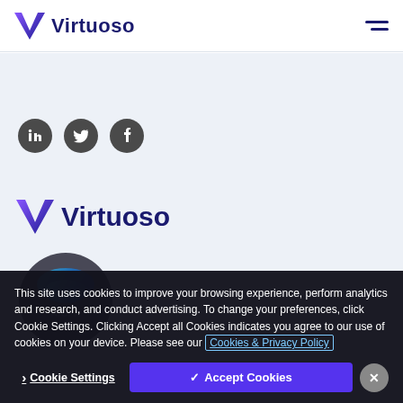[Figure (logo): Virtuoso logo with V chevron icon and text in header]
[Figure (illustration): Hamburger menu icon (three horizontal lines)]
[Figure (illustration): Social media icons: LinkedIn, Twitter, Facebook - dark circular buttons]
[Figure (logo): Virtuoso logo larger version with V chevron and bold text]
[Figure (illustration): AICPA SOC certification badge - circular with blue and teal design]
This site uses cookies to improve your browsing experience, perform analytics and research, and conduct advertising. To change your preferences, click Cookie Settings. Clicking Accept all Cookies indicates you agree to our use of cookies on your device. Please see our Cookies & Privacy Policy
Cookie Settings
✓ Accept Cookies